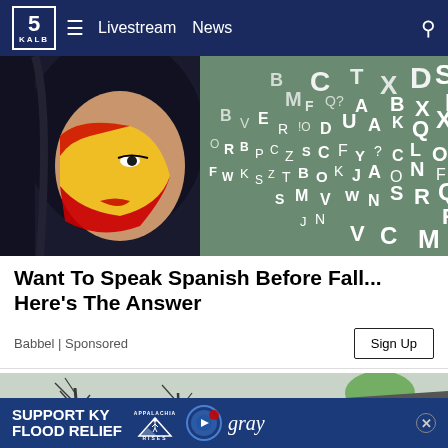5 KALB | Livestream News
[Figure (illustration): Woman with Spanish flag paint on face, surrounded by floating alphabet letters on a green background]
Want To Speak Spanish Before Fall... Here's The Answer
Babbel | Sponsored
[Figure (photo): Outdoor scene with bare trees and a rooftop, partly visible]
[Figure (infographic): Support KY Flood Relief banner ad with Appalachia Rises and Gray logos]